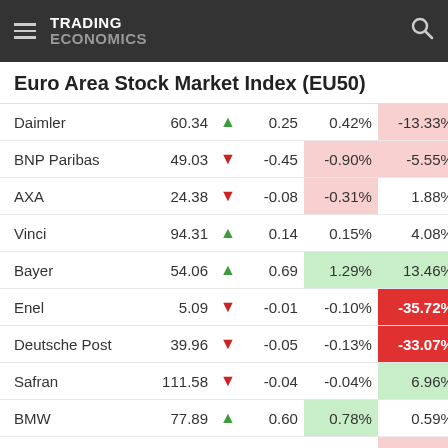TRADING ECONOMICS
Euro Area Stock Market Index (EU50)
| Name | Price | Dir | Change | Change% | YTD% |
| --- | --- | --- | --- | --- | --- |
| Daimler | 60.34 | ▲ | 0.25 | 0.42% | -13.33% |
| BNP Paribas | 49.03 | ▼ | -0.45 | -0.90% | -5.55% |
| AXA | 24.38 | ▼ | -0.08 | -0.31% | 1.88% |
| Vinci | 94.31 | ▲ | 0.14 | 0.15% | 4.08% |
| Bayer | 54.06 | ▲ | 0.69 | 1.29% | 13.46% |
| Enel | 5.09 | ▼ | -0.01 | -0.10% | -35.72% |
| Deutsche Post | 39.96 | ▼ | -0.05 | -0.13% | -33.07% |
| Safran | 111.58 | ▼ | -0.04 | -0.04% | 6.96% |
| BMW | 77.89 | ▲ | 0.60 | 0.78% | 0.59% |
| Banco Santander | 2.62 | ▼ | -0.001 | -0.04% | -14.71% |